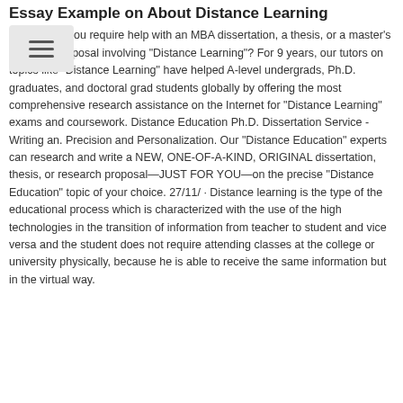Essay Example on About Distance Learning
Do you require help with an MBA dissertation, a thesis, or a master's research proposal involving "Distance Learning"? For 9 years, our tutors on topics like "Distance Learning" have helped A-level undergrads, Ph.D. graduates, and doctoral grad students globally by offering the most comprehensive research assistance on the Internet for "Distance Learning" exams and coursework. Distance Education Ph.D. Dissertation Service - Writing an. Precision and Personalization. Our "Distance Education" experts can research and write a NEW, ONE-OF-A-KIND, ORIGINAL dissertation, thesis, or research proposal—JUST FOR YOU—on the precise "Distance Education" topic of your choice. 27/11/ · Distance learning is the type of the educational process which is characterized with the use of the high technologies in the transition of information from teacher to student and vice versa and the student does not require attending classes at the college or university physically, because he is able to receive the same information but in the virtual way.